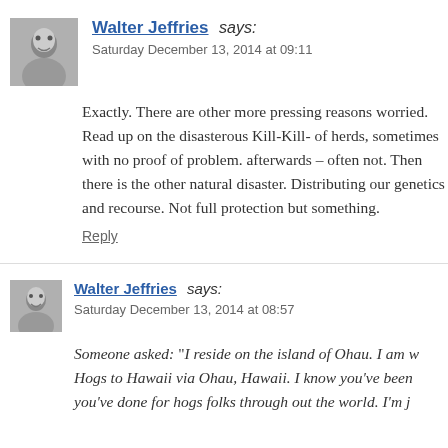[Figure (photo): Avatar photo of Walter Jeffries - grayscale portrait]
Walter Jeffries says:
Saturday December 13, 2014 at 09:11
Exactly. There are other more pressing reasons worried. Read up on the disasterous Kill-Kill- of herds, sometimes with no proof of problem. afterwards – often not. Then there is the other natural disaster. Distributing our genetics and recourse. Not full protection but something.
Reply
[Figure (photo): Avatar photo of Walter Jeffries - grayscale portrait smaller]
Walter Jeffries says:
Saturday December 13, 2014 at 08:57
Someone asked: “I reside on the island of Ohau. I am w Hogs to Hawaii via Ohau, Hawaii. I know you’ve been you’ve done for hogs folks through out the world. I’m j